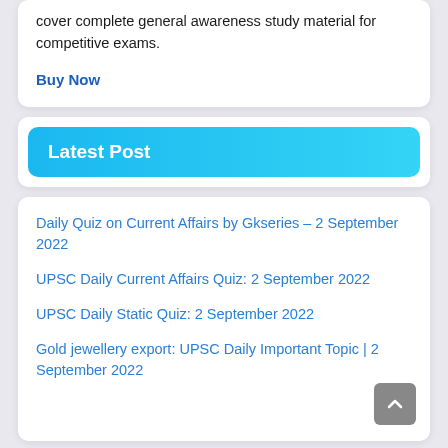cover complete general awareness study material for competitive exams.
Buy Now
Latest Post
Daily Quiz on Current Affairs by Gkseries – 2 September 2022
UPSC Daily Current Affairs Quiz: 2 September 2022
UPSC Daily Static Quiz: 2 September 2022
Gold jewellery export: UPSC Daily Important Topic | 2 September 2022